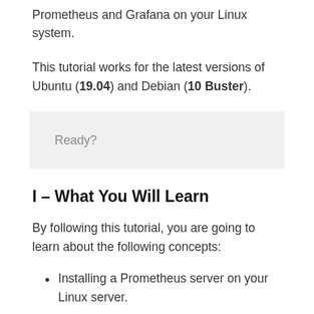Prometheus and Grafana on your Linux system.
This tutorial works for the latest versions of Ubuntu (19.04) and Debian (10 Buster).
Ready?
I – What You Will Learn
By following this tutorial, you are going to learn about the following concepts:
Installing a Prometheus server on your Linux server.